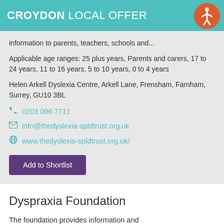CROYDON LOCAL OFFER
information to parents, teachers, schools and...
Applicable age ranges: 25 plus years, Parents and carers, 17 to 24 years, 11 to 16 years, 5 to 10 years, 0 to 4 years
Helen Arkell Dyslexia Centre, Arkell Lane, Frensham, Farnham, Surrey, GU10 3BL
0203 096 7711
info@thedyslexia-spldtrust.org.uk
www.thedyslexia-spldtrust.org.uk/
Add to Shortlist
Dyspraxia Foundation
The foundation provides information and